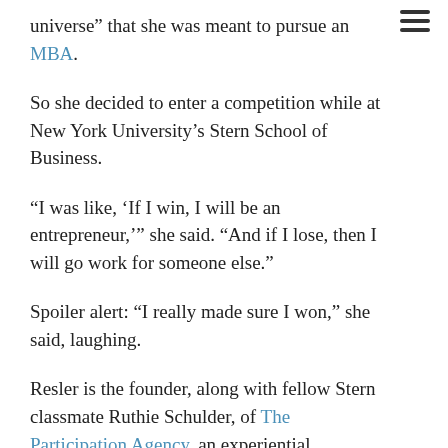universe” that she was meant to pursue an MBA.
So she decided to enter a competition while at New York University’s Stern School of Business.
“I was like, ‘If I win, I will be an entrepreneur,’” she said. “And if I lose, then I will go work for someone else.”
Spoiler alert: “I really made sure I won,” she said, laughing.
Resler is the founder, along with fellow Stern classmate Ruthie Schulder, of The Participation Agency, an experiential marketing venture launched in 2011 that offers deliverables to clients in the form of outlandish, avant-garde experiences (AdWeek has dubbed the campaigns, which mash culture and digital marketing, “crazy”).